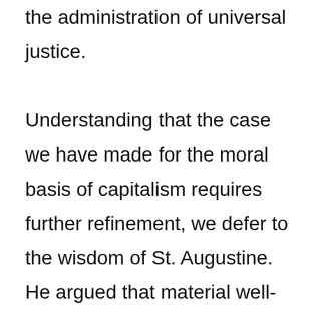the administration of universal justice. Understanding that the case we have made for the moral basis of capitalism requires further refinement, we defer to the wisdom of St. Augustine. He argued that material well-being does not necessarily bring better choices, a finer morality, or even more happiness. Referring to earth and the human predicament, he writes: “The things which the earthly city desires cannot justly be said to be evil, for it is itself, in its own kind, better than all other human goods. For it desires earthly peace for the sake of enjoying earthly goods. It is all right for men to seek these things, for they are good things, and without doubt, the